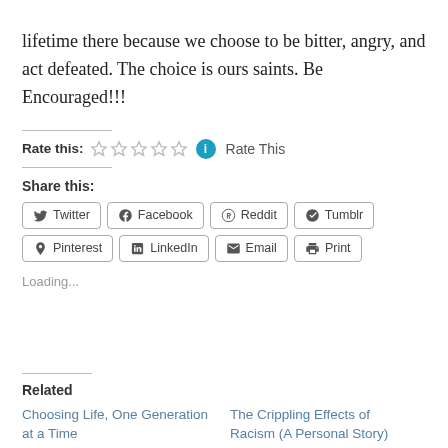lifetime there because we choose to be bitter, angry, and act defeated. The choice is ours saints. Be Encouraged!!!
Rate this: ☆☆☆☆☆ ℹ Rate This
Share this:
Twitter Facebook Reddit Tumblr Pinterest LinkedIn Email Print
Loading...
Related
Choosing Life, One Generation at a Time
The Crippling Effects of Racism (A Personal Story)